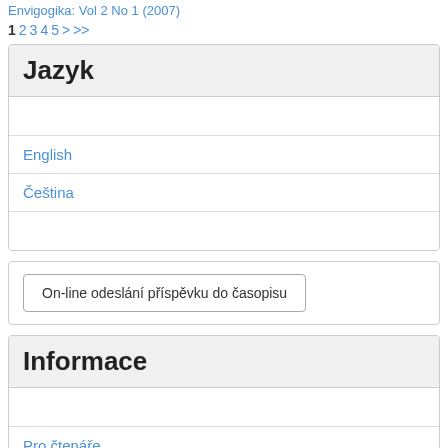Envigogika: Vol 2 No 1 (2007)
1 2 3 4 5 > >>
Jazyk
English
Čeština
On-line odeslání příspěvku do časopisu
Informace
Pro čtenáře